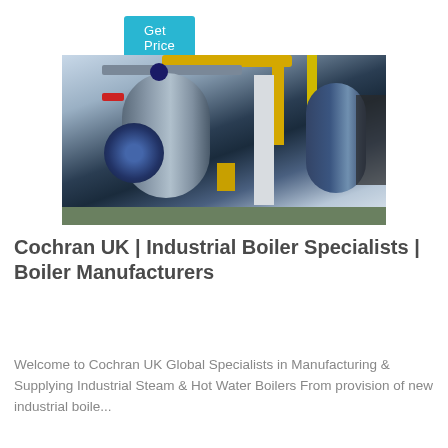Get Price
[Figure (photo): Industrial boiler room with large cylindrical steam boilers, yellow overhead pipes, metal staircases, and green-painted floors]
Cochran UK | Industrial Boiler Specialists | Boiler Manufacturers
Welcome to Cochran UK Global Specialists in Manufacturing & Supplying Industrial Steam & Hot Water Boilers From provision of new industrial boile...